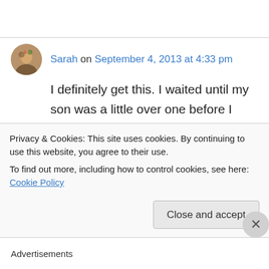Sarah on September 4, 2013 at 4:33 pm
I definitely get this. I waited until my son was a little over one before I changed my name. I just hated the thought of losing either my middle name or my maiden name. Then one day I had a revelation–royalty have many names, why can't I
Privacy & Cookies: This site uses cookies. By continuing to use this website, you agree to their use.
To find out more, including how to control cookies, see here: Cookie Policy
Advertisements